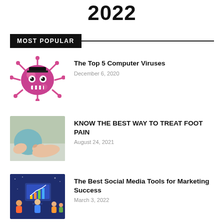2022
MOST POPULAR
[Figure (illustration): Pink cartoon computer virus/germ character with spikes, eyes, and fangs]
The Top 5 Computer Viruses
December 6, 2020
[Figure (photo): Person receiving foot massage/treatment, hands on foot]
KNOW THE BEST WAY TO TREAT FOOT PAIN
August 24, 2021
[Figure (illustration): Social media marketing illustration with people and bar chart on screen, dark blue background]
The Best Social Media Tools for Marketing Success
March 3, 2022